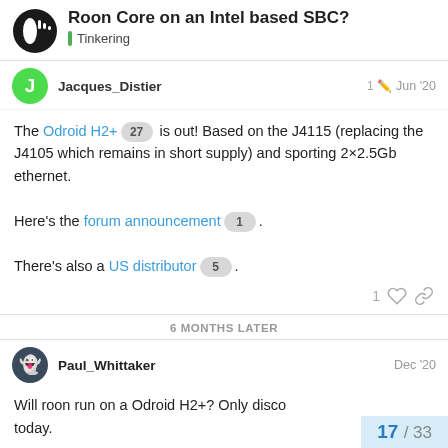Roon Core on an Intel based SBC? | Tinkering
Jacques_Distier  1  Jun '20
The Odroid H2+ 27 is out! Based on the J4115 (replacing the J4105 which remains in short supply) and sporting 2×2.5Gb ethernet.

Here's the forum announcement 1.

There's also a US distributor 5.
6 MONTHS LATER
Paul_Whittaker  Dec '20
Will roon run on a Odroid H2+? Only disco... today.
17 / 33